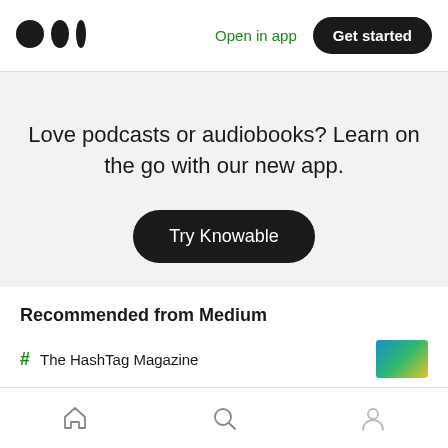Medium logo | Open in app | Get started
Love podcasts or audiobooks? Learn on the go with our new app.
Try Knowable
Recommended from Medium
# The HashTag Magazine
Home | Search | Profile